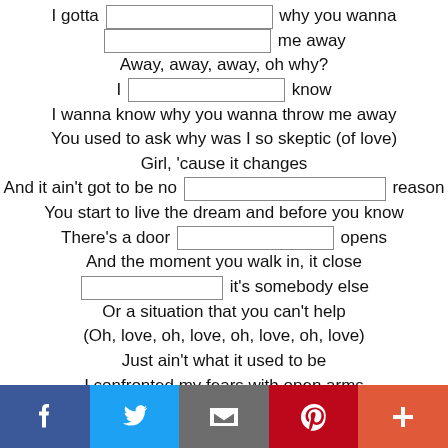I gotta [blank] why you wanna
[blank] me away
Away, away, away, oh why?
I [blank] know
I wanna know why you wanna throw me away
You used to ask why was I so skeptic (of love)
Girl, 'cause it changes
And it ain't got to be no [blank] reason
You start to live the dream and before you know
There's a door [blank] opens
And the moment you walk in, it close
[blank] it's somebody else
Or a situation that you can't help
(Oh, love, oh, love, oh, love, oh, love)
Just ain't what it used to be
I confronted my fears with open arms
Although you said you will never give up on us
But now you blow me away
[Figure (infographic): Social sharing bar with Facebook, Twitter, Email, Pinterest, and More buttons]